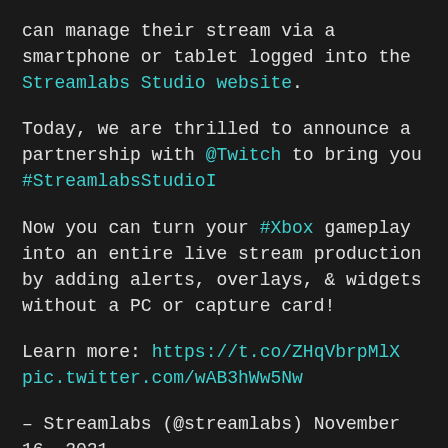can manage their stream via a smartphone or tablet logged into the Streamlabs Studio website.
Today, we are thrilled to announce a partnership with @Twitch to bring you #StreamlabsStudioI
Now you can turn your #Xbox gameplay into an entire live stream production by adding alerts, overlays, & widgets without a PC or capture card!
Learn more: https://t.co/ZHqVbrpMlX pic.twitter.com/wAB3hWw5Nw
– Streamlabs (@streamlabs) November 16, 2021
Streamlabs' Head of Product Ashray Urs was thrilled to be able to offer console-based streamers new flexibility